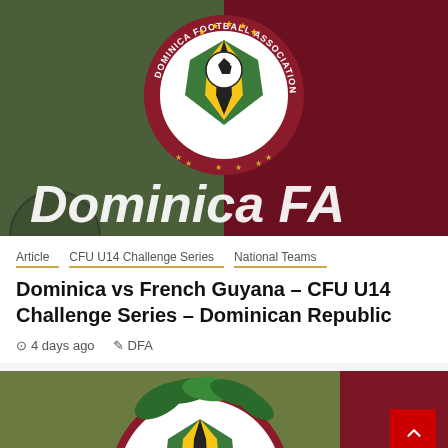[Figure (photo): Dominica Football Association logo/badge on a dark green and dark red background with text 'Dominica FA' in white italic font at the bottom]
Article   CFU U14 Challenge Series   National Teams
Dominica vs French Guyana – CFU U14 Challenge Series – Dominican Republic
4 days ago   DFA
[Figure (photo): Dominica Football Association coat of arms / badge on dark olive green and red background, second card partially visible]